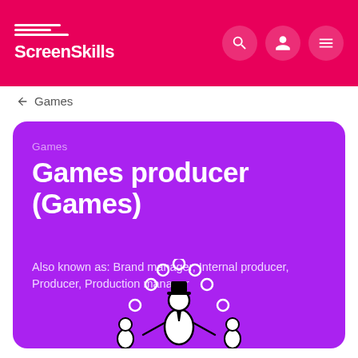ScreenSkills
← Games
Games
Games producer (Games)
Also known as: Brand manager, Internal producer, Producer, Production manager
[Figure (illustration): A juggler figure illustration in black and white on a purple background, juggling multiple balls]